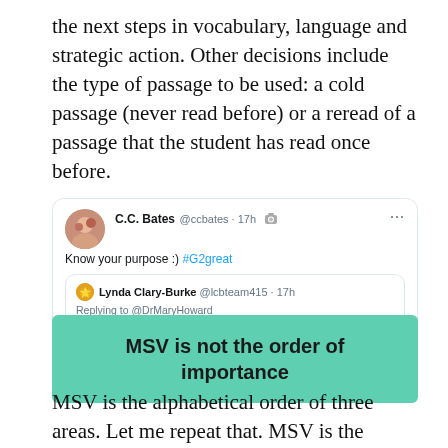the next steps in vocabulary, language and strategic action. Other decisions include the type of passage to be used: a cold passage (never read before) or a reread of a passage that the student has read once before.
[Figure (screenshot): Tweet from C.C. Bates (@ccbates) 17h with camera icon: 'Know your purpose :) #G2great', quoting Lynda Clary-Burke (@lcbteam415) 17h replying to @DrMaryHoward: 'The cold read Benchmark RRs are for a different purpose than the ones I do to monitor the child's progress and inform my teaching. #G2Great']
MSV is not the order of importance
MSV is the alphabetical order of three areas. Let me repeat that. MSV is the alphabetical